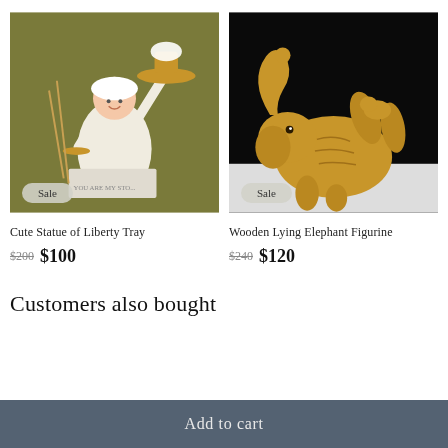[Figure (photo): Statue of Liberty figurine holding a golden tray with cupcakes, wearing a white robe, on an olive green background. Sale badge in bottom left.]
[Figure (photo): Golden wooden lying elephant figurine on its back on a white surface, against a black background. Sale badge in bottom left.]
Cute Statue of Liberty Tray
$200  $100
Wooden Lying Elephant Figurine
$240  $120
Customers also bought
Add to cart